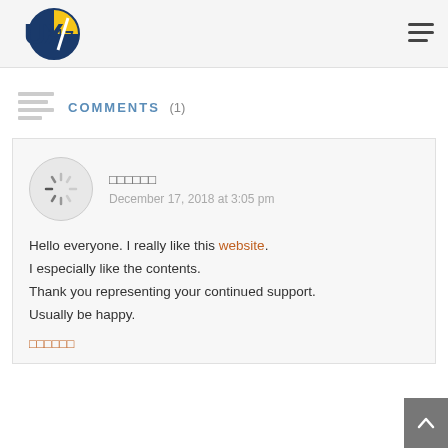UX247 website header with logo and hamburger menu
COMMENTS (1)
□□□□□□ — December 17, 2018 at 3:05 pm — Hello everyone. I really like this website. I especially like the contents. Thank you representing your continued support. Usually be happy. □□□□□□
[Figure (illustration): Avatar placeholder circle with spinning loader icon]
Reply link: □□□□□□